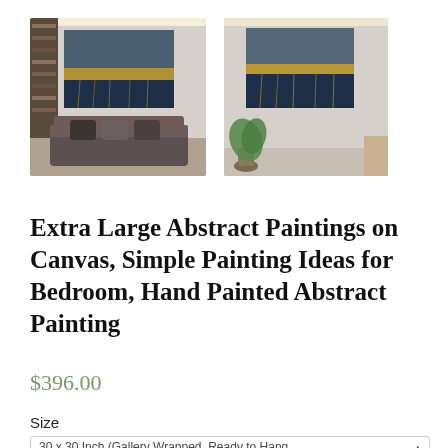[Figure (photo): Two product photos of abstract painting on canvas: left shows painting hung above a sofa in a living room setting; right shows painting displayed in a different room setting with a plant nearby.]
Extra Large Abstract Paintings on Canvas, Simple Painting Ideas for Bedroom, Hand Painted Abstract Painting
$396.00
Size
30 x 30 Inch (Gallery Wrapped, Ready to Hang, …)